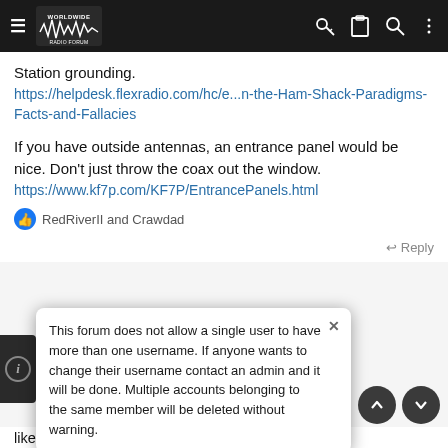Worldwide Radio Forum (navigation bar with hamburger menu, logo, icons)
Station grounding.
https://helpdesk.flexradio.com/hc/e...n-the-Ham-Shack-Paradigms-Facts-and-Fallacies
If you have outside antennas, an entrance panel would be nice. Don't just throw the coax out the window.
https://www.kf7p.com/KF7P/EntrancePanels.html
RedRiverII and Crawdad
↩ Reply
This forum does not allow a single user to have more than one username. If anyone wants to change their username contact an admin and it will be done. Multiple accounts belonging to the same member will be deleted without warning.
like he...